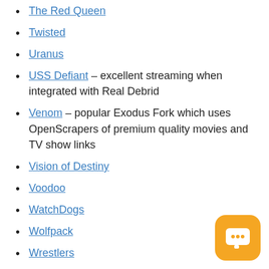The Red Queen
Twisted
Uranus
USS Defiant – excellent streaming when integrated with Real Debrid
Venom – popular Exodus Fork which uses OpenScrapers of premium quality movies and TV show links
Vision of Destiny
Voodoo
WatchDogs
Wolfpack
Wrestlers
Yoda
YouTube
[Figure (illustration): Orange rounded square chat button with three dots speech bubble icon]